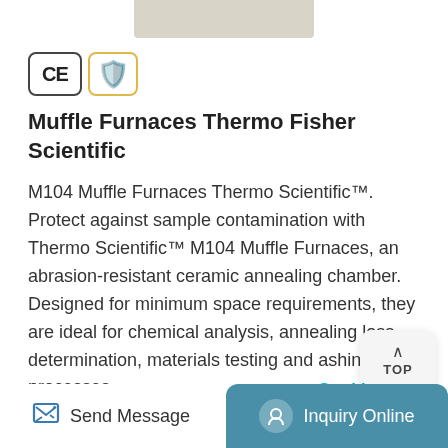[Figure (other): CE certification badge and gold shield/supplier badge icons]
Muffle Furnaces Thermo Fisher Scientific
M104 Muffle Furnaces Thermo Scientific™. Protect against sample contamination with Thermo Scientific™ M104 Muffle Furnaces, an abrasion-resistant ceramic annealing chamber. Designed for minimum space requirements, they are ideal for chemical analysis, annealing loss determination, materials testing and ashing processes.
Get More →
Send Message    Inquiry Online